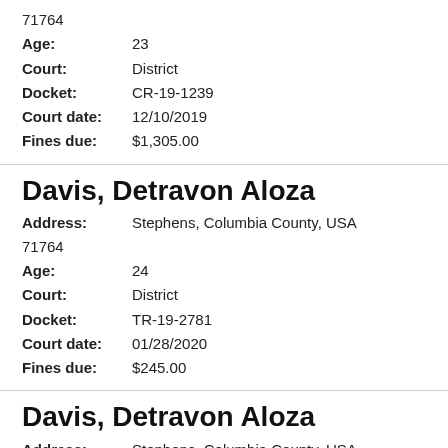71764
Age: 23
Court: District
Docket: CR-19-1239
Court date: 12/10/2019
Fines due: $1,305.00
Davis, Detravon Aloza
Address: Stephens, Columbia County, USA
71764
Age: 24
Court: District
Docket: TR-19-2781
Court date: 01/28/2020
Fines due: $245.00
Davis, Detravon Aloza
Address: Stephens, Columbia County, USA
71764
Age: 24
Court: District
Docket: TR-19-2782
Court date: 01/28/2020